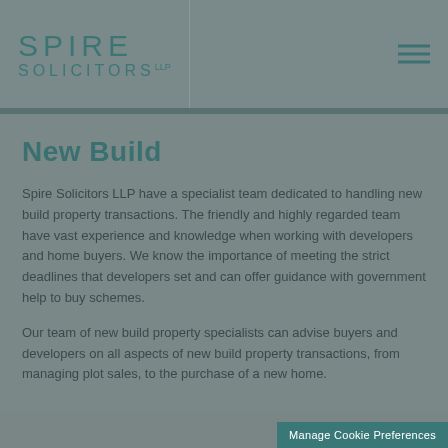SPIRE SOLICITORS LLP
New Build
Spire Solicitors LLP have a specialist team dedicated to handling new build property transactions. The friendly and highly regarded team have vast experience and knowledge when working with developers and home buyers. We know the importance of meeting the strict deadlines that developers set and can offer guidance with government help to buy schemes.
Our team of new build property specialists can advise buyers and developers on all aspects of new build property transactions, from managing plot sales, to the purchase of a new home.
Manage Cookie Preferences